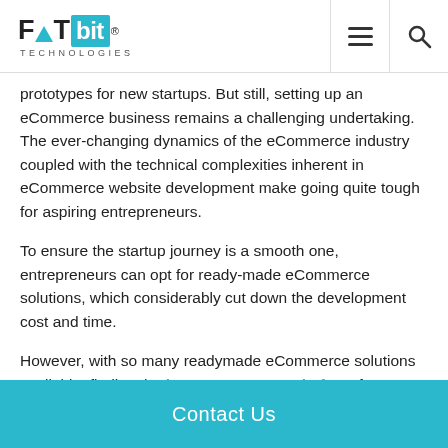FATbit Technologies logo with navigation
prototypes for new startups. But still, setting up an eCommerce business remains a challenging undertaking. The ever-changing dynamics of the eCommerce industry coupled with the technical complexities inherent in eCommerce website development make going quite tough for aspiring entrepreneurs.
To ensure the startup journey is a smooth one, entrepreneurs can opt for ready-made eCommerce solutions, which considerably cut down the development cost and time.
However, with so many readymade eCommerce solutions available, finding the best ecommerce platform for startups is not an easy job. Moreover, choosing an ecommerce solution that boasts of being a "jack of all trades" is not ideal. It's
Contact Us